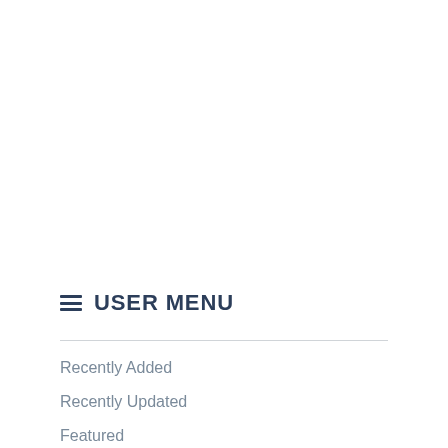USER MENU
Recently Added
Recently Updated
Featured
Popular